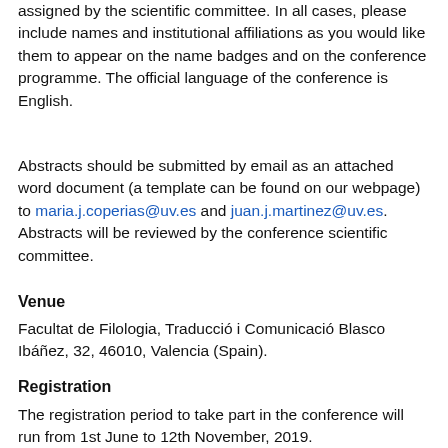assigned by the scientific committee. In all cases, please include names and institutional affiliations as you would like them to appear on the name badges and on the conference programme. The official language of the conference is English.
Abstracts should be submitted by email as an attached word document (a template can be found on our webpage) to maria.j.coperias@uv.es and juan.j.martinez@uv.es. Abstracts will be reviewed by the conference scientific committee.
Venue
Facultat de Filologia, Traducció i Comunicació Blasco Ibáñez, 32, 46010, Valencia (Spain).
Registration
The registration period to take part in the conference will run from 1st June to 12th November, 2019. (http://citrans.uv.es/2018/12/call-for-papers-nuevo-congreso-iclia-translating-cultures-cultures-in-translation-20-22...